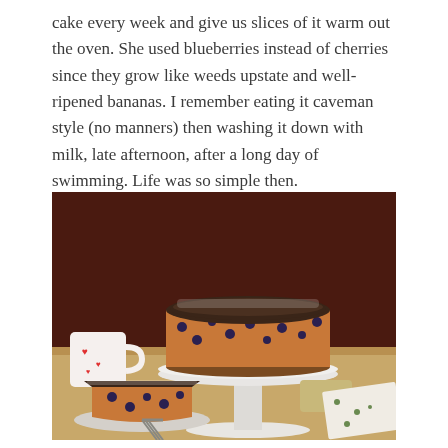cake every week and give us slices of it warm out the oven. She used blueberries instead of cherries since they grow like weeds upstate and well-ripened bananas. I remember eating it caveman style (no manners) then washing it down with milk, late afternoon, after a long day of swimming. Life was so simple then.
[Figure (photo): A blueberry banana cake on a white pedestal cake stand, with a slice on a small plate in the foreground, a white mug with red hearts on the left, and a floral napkin on the right, set on a wooden table with a dark red-brown background.]